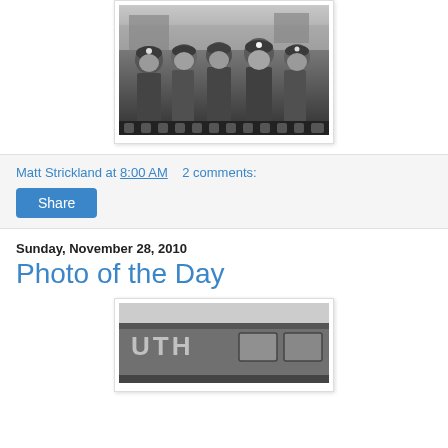[Figure (photo): Black and white photograph of coal miners wearing helmets with headlamps, group of men standing together]
Matt Strickland at 8:00 AM   2 comments:
Share
Sunday, November 28, 2010
Photo of the Day
[Figure (photo): Black and white photograph of a train car with letters UTH visible on the side]